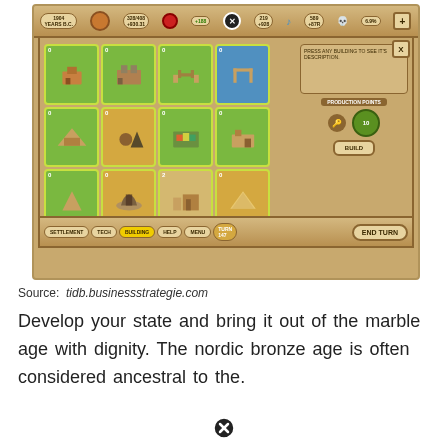[Figure (screenshot): Screenshot of a strategy/city-building game interface showing a 4x3 grid of building cards with icons (settlement, castle, fence, dock, pyramid, smithy, farm, house, spire, cave, fort, Egyptian pyramid) on green/sandy/blue backgrounds with yellow borders, a top HUD bar with resources, navigation buttons at bottom (SETTLEMENT, TECH, BUILDING, HELP, MENU, END TURN), and a production points panel on the right side.]
Source: tidb.businessstrategie.com
Develop your state and bring it out of the marble age with dignity. The nordic bronze age is often considered ancestral to the.
[Figure (other): Black circle with X symbol (close button)]